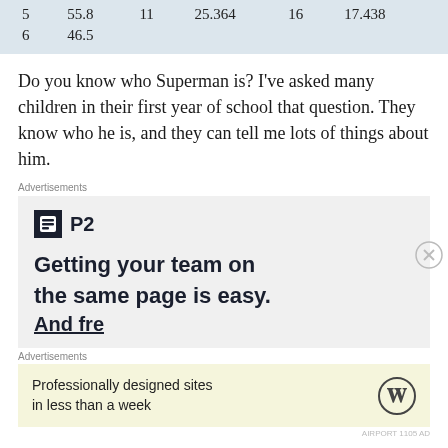| 5 | 55.8 | 11 | 25.364 | 16 | 17.438 |
| 6 | 46.5 |  |  |  |  |
Do you know who Superman is? I've asked many children in their first year of school that question. They know who he is, and they can tell me lots of things about him.
Advertisements
[Figure (other): Advertisement for P2 - Getting your team on the same page is easy. And free.]
Advertisements
[Figure (other): WordPress advertisement: Professionally designed sites in less than a week]